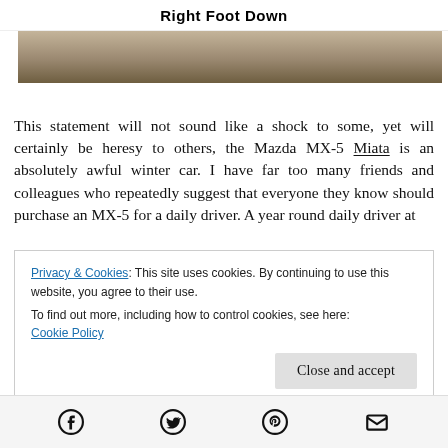Right Foot Down
[Figure (photo): Partial view of a car on a road, top portion of image showing brown/tan surface]
This statement will not sound like a shock to some, yet will certainly be heresy to others, the Mazda MX-5 Miata is an absolutely awful winter car. I have far too many friends and colleagues who repeatedly suggest that everyone they know should purchase an MX-5 for a daily driver. A year round daily driver at
Privacy & Cookies: This site uses cookies. By continuing to use this website, you agree to their use.
To find out more, including how to control cookies, see here:
Cookie Policy
Close and accept
[Figure (infographic): Social share icons: Facebook, Twitter, Pinterest, Email]